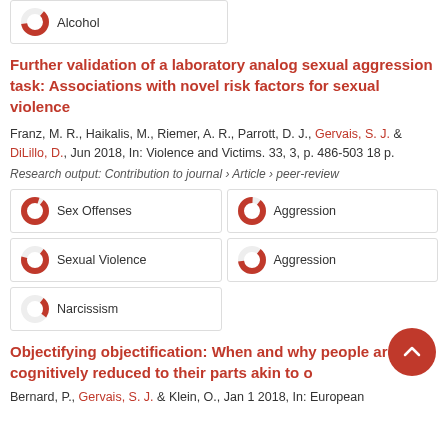[Figure (donut-chart): Partially filled donut ~65% red for Alcohol keyword badge]
Alcohol
Further validation of a laboratory analog sexual aggression task: Associations with novel risk factors for sexual violence
Franz, M. R., Haikalis, M., Riemer, A. R., Parrott, D. J., Gervais, S. J. & DiLillo, D., Jun 2018, In: Violence and Victims. 33, 3, p. 486-503 18 p.
Research output: Contribution to journal › Article › peer-review
Sex Offenses
Aggression
Sexual Violence
Aggression
Narcissism
Objectifying objectification: When and why people are cognitively reduced to their parts akin to o
Bernard, P., Gervais, S. J. & Klein, O., Jan 1 2018, In: European